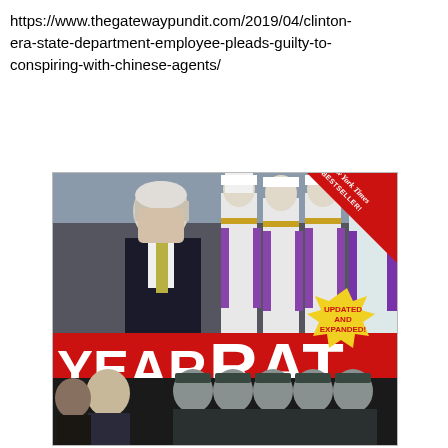https://www.thegatewaypundit.com/2019/04/clinton-era-state-department-employee-pleads-guilty-to-conspiring-with-chinese-agents/
[Figure (photo): Book cover for 'Year of the Rat: How Bill Clinton and Al Gore Compromised U.S. Security for Chinese Cash'. Shows Bill Clinton with Chinese honor guards on the top portion, red background with large white text 'YEAR OF THE RAT' and subtitle in italic. Has a New York Times Bestseller ribbon in the top right corner and a yellow starburst badge saying 'UPDATED AND EXPANDED!'. Bottom strip shows Al Gore with Chinese military figures.]